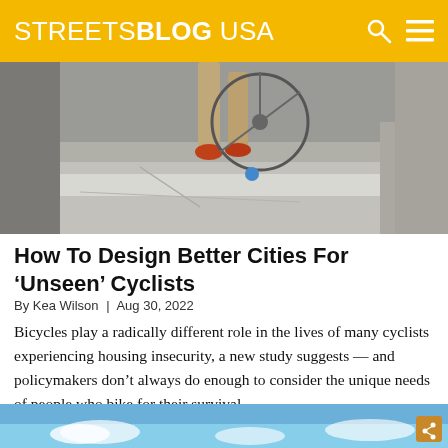STREETSBLOG USA
[Figure (photo): Close-up photo of a person with a bicycle at a pedestrian crosswalk, showing legs and bicycle wheel on pavement.]
How To Design Better Cities For ‘Unseen’ Cyclists
By Kea Wilson | Aug 30, 2022
Bicycles play a radically different role in the lives of many cyclists experiencing housing insecurity, a new study suggests — and policymakers don’t always do enough to consider the unique needs of people who bike for their survival.
[Figure (photo): Partial view of a sky with clouds, bottom of another article image.]